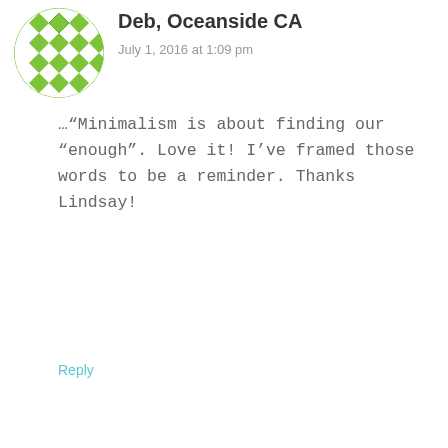[Figure (illustration): Circular avatar with green geometric diamond/cross pattern on white background]
Deb, Oceanside CA
July 1, 2016 at 1:09 pm
…“Minimalism is about finding our “enough”. Love it! I’ve framed those words to be a reminder. Thanks Lindsay!
Reply
[Figure (photo): Circular avatar photo of Lindsay, a woman with dark hair]
Lindsay (Treading My Own Path)
July 1, 2016 at 4:58 pm
Thanks Deb! No, it’s been not too little, just enough ;)
This site uses cookies. Cookies enable me to personalise your experience on this site so I can improve my content and communications.
I’m okay with that